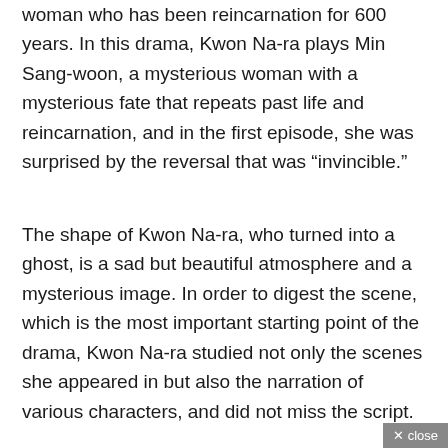woman who has been reincarnation for 600 years. In this drama, Kwon Na-ra plays Min Sang-woon, a mysterious woman with a mysterious fate that repeats past life and reincarnation, and in the first episode, she was surprised by the reversal that was “invincible.”
The shape of Kwon Na-ra, who turned into a ghost, is a sad but beautiful atmosphere and a mysterious image. In order to digest the scene, which is the most important starting point of the drama, Kwon Na-ra studied not only the scenes she appeared in but also the narration of various characters, and did not miss the script.